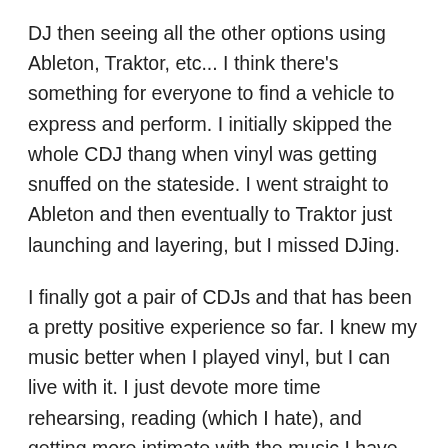DJ then seeing all the other options using Ableton, Traktor, etc... I think there's something for everyone to find a vehicle to express and perform. I initially skipped the whole CDJ thang when vinyl was getting snuffed on the stateside. I went straight to Ableton and then eventually to Traktor just launching and layering, but I missed DJing.
I finally got a pair of CDJs and that has been a pretty positive experience so far. I knew my music better when I played vinyl, but I can live with it. I just devote more time rehearsing, reading (which I hate), and getting more intimate with the music I have. As a producer, it's been an interesting run discovering what I like and don't like. In the end I think I'll return to having some outboard gear in the mix with my DAW. I used early Opcode s/w for midi sequencing but always did the tweaks and stuff live. Automation in the box is a real luxury in some aspects but I've learned it's more effective for me to have this sort of